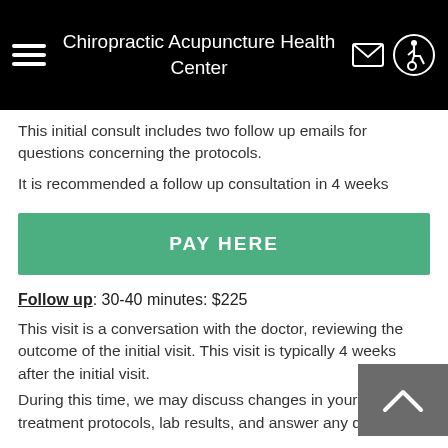Chiropractic Acupuncture Health Center
This initial consult includes two follow up emails for questions concerning the protocols.
It is recommended a follow up consultation in 4 weeks
[Figure (other): Green PAY HERE button]
Follow up: 30-40 minutes: $225
This visit is a conversation with the doctor, reviewing the outcome of the initial visit. This visit is typically 4 weeks after the initial visit.
During this time, we may discuss changes in your: health, treatment protocols, lab results, and answer any questions